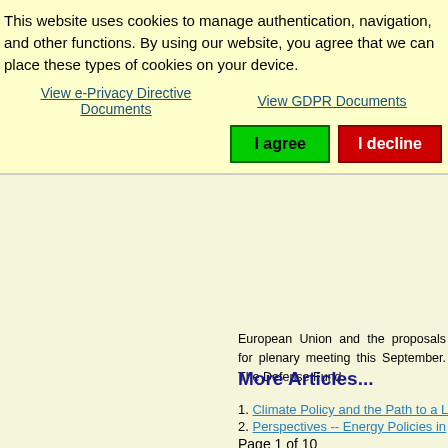This website uses cookies to manage authentication, navigation, and other functions. By using our website, you agree that we can place these types of cookies on your device.
View e-Privacy Directive Documents
View GDPR Documents
I agree
I decline
European Union and the proposals for plenary meeting this September. The Defense Fund.
More Articles...
Climate Policy and the Path to a L
Perspectives -- Energy Policies in
Governance and Sustainable Dev
The International Law of the Sea
Page 1 of 10
« Start  Prev  1  2  3  4  5